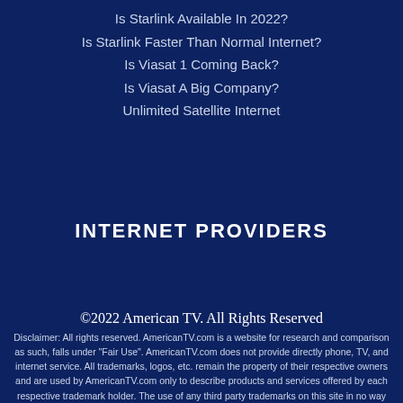Is Starlink Available In 2022?
Is Starlink Faster Than Normal Internet?
Is Viasat 1 Coming Back?
Is Viasat A Big Company?
Unlimited Satellite Internet
INTERNET PROVIDERS
©2022 American TV. All Rights Reserved
Disclaimer: All rights reserved. AmericanTV.com is a website for research and comparison as such, falls under "Fair Use". AmericanTV.com does not provide directly phone, TV, and internet service. All trademarks, logos, etc. remain the property of their respective owners and are used by AmericanTV.com only to describe products and services offered by each respective trademark holder. The use of any third party trademarks on this site in no way